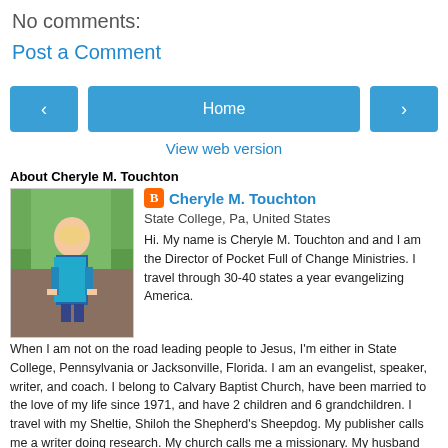No comments:
Post a Comment
[Figure (infographic): Navigation row with left arrow button, Home button, and right arrow button, all in blue]
View web version
About Cheryle M. Touchton
[Figure (photo): Profile photo of a woman standing outdoors with green foliage background]
Cheryle M. Touchton
State College, Pa, United States
Hi. My name is Cheryle M. Touchton and and I am the Director of Pocket Full of Change Ministries. I travel through 30-40 states a year evangelizing America. When I am not on the road leading people to Jesus, I'm either in State College, Pennsylvania or Jacksonville, Florida. I am an evangelist, speaker, writer, and coach. I belong to Calvary Baptist Church, have been married to the love of my life since 1971, and have 2 children and 6 grandchildren. I travel with my Sheltie, Shiloh the Shepherd's Sheepdog. My publisher calls me a writer doing research. My church calls me a missionary. My husband calls me an